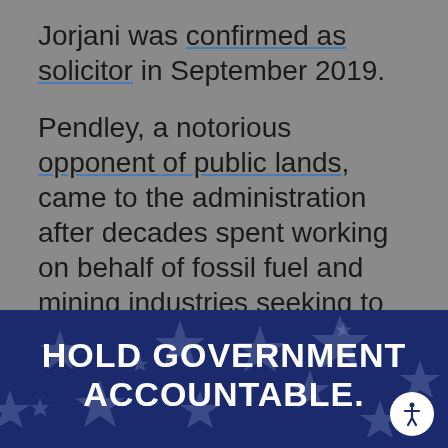Jorjani was confirmed as solicitor in September 2019.
Pendley, a notorious opponent of public lands, came to the administration after decades spent working on behalf of fossil fuel and mining industries seeking to use public lands for extractive purposes. Under Pendley, BLM's headquarters were relocated to Grand Junction, Colo., where the agency shares a building with Chevron
[Figure (infographic): Dark navy blue banner with faded star pattern background containing bold white uppercase text reading 'HOLD GOVERNMENT ACCOUNTABLE.' with an accessibility icon button in the bottom right corner.]